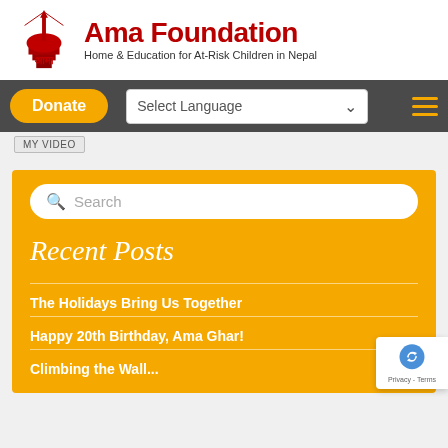[Figure (logo): Ama Foundation logo with Nepali text and pagoda/stupa icon in red]
Ama Foundation
Home & Education for At-Risk Children in Nepal
Donate
Select Language
MY VIDEO
Search
Recent Posts
The Holidays Bring Us Together
Happy 20th Birthday, Ama Ghar!
Climbing the Wall...